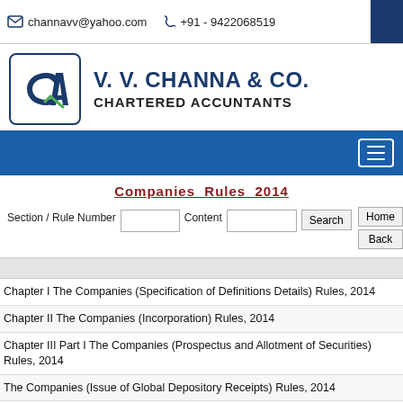channavv@yahoo.com   +91 - 9422068519
[Figure (logo): V. V. Channa & Co. Chartered Accountants logo with CA monogram in a rounded rectangle]
V. V. CHANNA & CO. CHARTERED ACCUNTANTS
[Figure (other): Navigation bar with hamburger menu button]
Companies Rules 2014
Section / Rule Number   Content   Search   Home   Back
Chapter I The Companies (Specification of Definitions Details) Rules, 2014
Chapter II The Companies (Incorporation) Rules, 2014
Chapter III Part I The Companies (Prospectus and Allotment of Securities) Rules, 2014
The Companies (Issue of Global Depository Receipts) Rules, 2014
Chapter IV The Companies (Share Capital and Debentures) Rules, 2014
Chapter V The Companies (Acceptance of Deposits) Rules, 2014